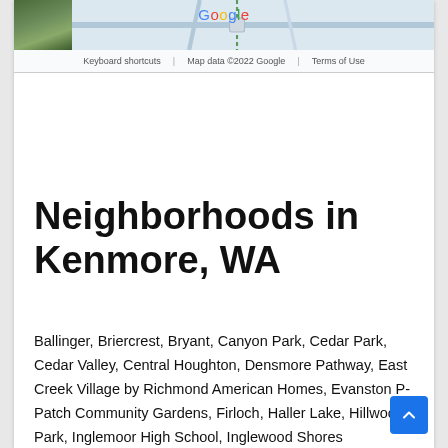[Figure (map): Google Maps strip showing a partial map view with a street view photo thumbnail in the top-left corner. Footer shows 'Keyboard shortcuts | Map data ©2022 Google | Terms of Use'.]
Neighborhoods in Kenmore, WA
Ballinger, Briercrest, Bryant, Canyon Park, Cedar Park, Cedar Valley, Central Houghton, Densmore Pathway, East Creek Village by Richmond American Homes, Evanston P-Patch Community Gardens, Firloch, Haller Lake, Hillwood Park, Inglemoor High School, Inglewood Shores